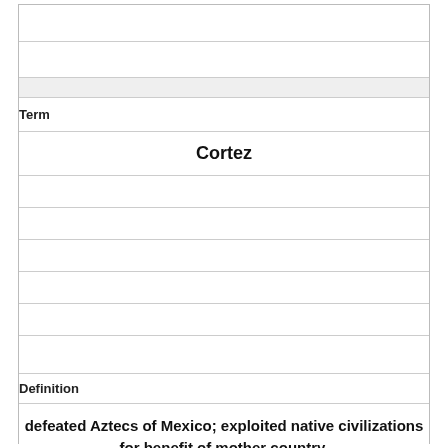| Term | Definition |
| --- | --- |
| Cortez | defeated Aztecs of Mexico; exploited native civilizations for benefit of mother country. |